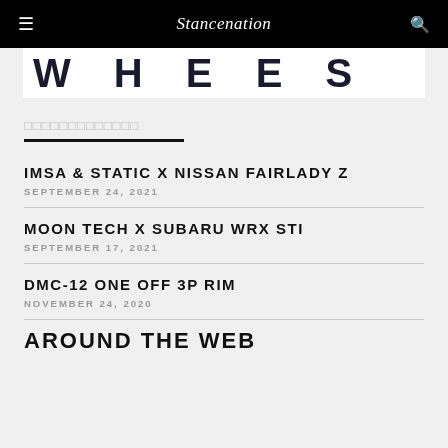Stancenation
[Figure (other): Partial banner showing the word WHEELS in large bold uppercase letters on white background]
□□□□□□□□□□□□□
IMSA & STATIC X NISSAN FAIRLADY Z
SEPTEMBER 24, 2021
MOON TECH X SUBARU WRX STI
SEPTEMBER 17, 2021
DMC-12 ONE OFF 3P RIM
NOVEMBER 24, 2020
AROUND THE WEB